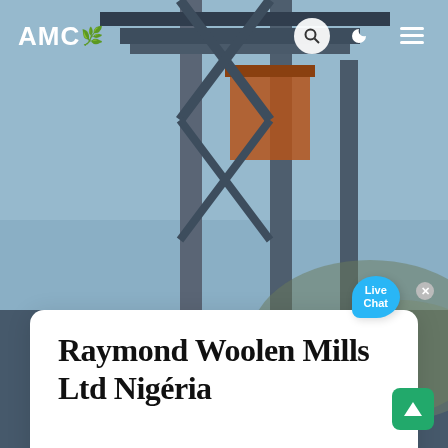[Figure (photo): Industrial machinery / conveyor structure photographed from below at a quarry or construction site, with blue-grey sky background, steel framework and purple pipes visible.]
AMC
Raymond Woolen Mills Ltd Nigéria